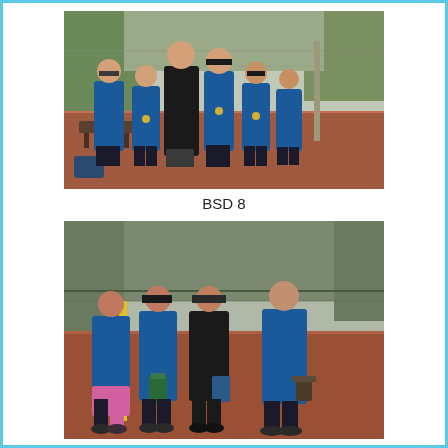[Figure (photo): Group photo of six children and one adult coach on a clay tennis court. All wearing blue sports shirts, some with medals. Background shows tennis court netting and trees.]
BSD 8
[Figure (photo): Group photo of four young adults (three women and one man) on a clay tennis court holding trophies/awards. All wearing blue sports shirts except one in black. Background shows tennis court fence and trees.]